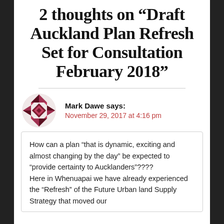2 thoughts on “Draft Auckland Plan Refresh Set for Consultation February 2018”
Mark Dawe says: November 29, 2017 at 4:16 pm
How can a plan “that is dynamic, exciting and almost changing by the day” be expected to “provide certainty to Aucklanders”???? Here in Whenuapai we have already experienced the “Refresh” of the Future Urban land Supply Strategy that moved our